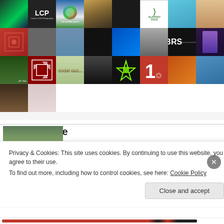[Figure (screenshot): Grid of blogger/social media avatar thumbnails arranged in 4 rows of 8 columns each (last row only 2 filled). Includes profile photos, logos, and decorative icons.]
acuriouscure
[Figure (screenshot): Partial thumbnail image peek of a blog post photo]
Privacy & Cookies: This site uses cookies. By continuing to use this website, you agree to their use.
To find out more, including how to control cookies, see here: Cookie Policy
Close and accept